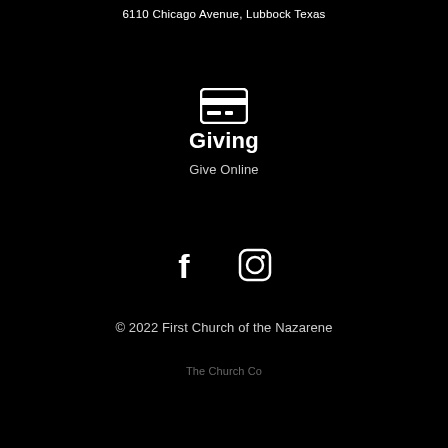6110 Chicago Avenue, Lubbock Texas
[Figure (illustration): Credit card icon (white outline of a credit card with a stripe and chip line)]
Giving
Give Online
[Figure (illustration): Social media icons: Facebook (f) and Instagram (camera) in white]
© 2022 First Church of the Nazarene
The Church Co